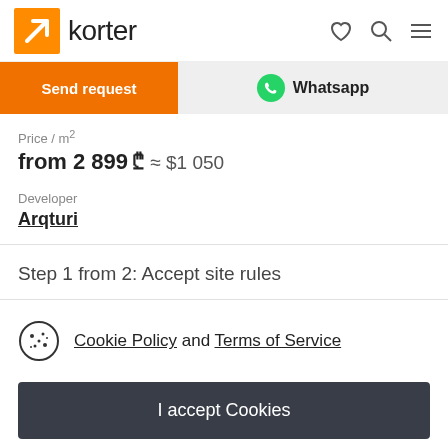korter
Send request
Whatsapp
Price / m²
from 2 899 ₾ ≈ $1 050
Developer
Arqturi
Step 1 from 2: Accept site rules
Cookie Policy and Terms of Service
I accept Cookies